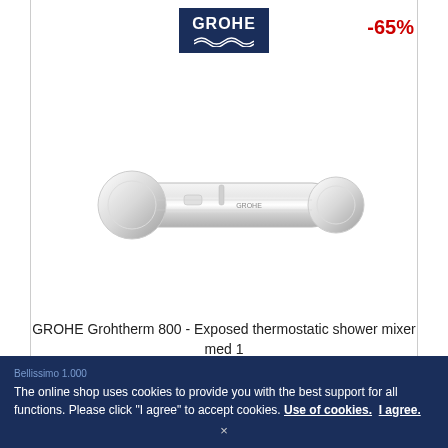[Figure (logo): GROHE brand logo: white text on dark navy blue background with wave icon]
-65%
[Figure (photo): GROHE Grohtherm 800 exposed thermostatic shower mixer, chrome finish, horizontal cylindrical bar with two round control knobs]
GROHE Grohtherm 800 - Exposed thermostatic shower mixer med 1 konsument krom
SEK 4,303.35*
SEK 1,499.61
The online shop uses cookies to provide you with the best support for all functions. Please click "I agree" to accept cookies. Use of cookies. I agree.